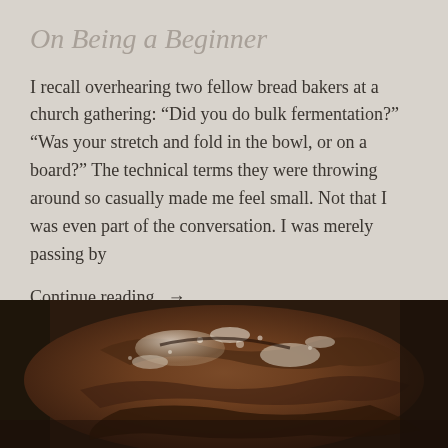On Being a Beginner
I recall overhearing two fellow bread bakers at a church gathering: “Did you do bulk fermentation?” “Was your stretch and fold in the bowl, or on a board?” The technical terms they were throwing around so casually made me feel small. Not that I was even part of the conversation. I was merely passing by
Continue reading  →
[Figure (photo): A rustic artisan sourdough bread loaf with a floury crust, sitting in what appears to be a dark wicker basket or banneton, photographed from above at close range. The bread is dark brown with white flour scattered on top.]